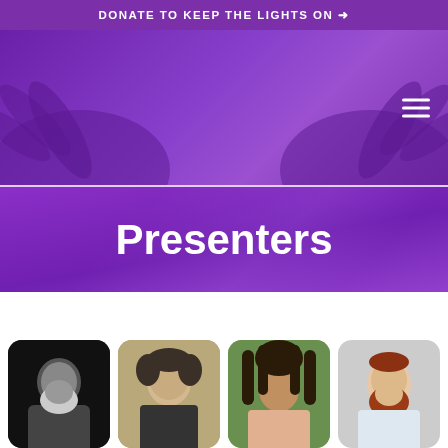DONATE TO KEEP THE LIGHTS ON →
[Figure (photo): Purple gradient hero banner with silhouetted raised hands and hamburger menu icon]
Presenters
[Figure (photo): Headshot of Akiva Tatz, older man with white beard and dark clothing]
Akiva Tatz
SPEAKER
[Figure (photo): Headshot of Erran Baron, young man with curly hair]
Erran Baron
[Figure (photo): Headshot of Rohan Marley, man with dreadlocks]
Rohan Marley
SPEAKER
[Figure (photo): Headshot of Rabbi Harry, bearded man with red beard]
Rabbi Harry